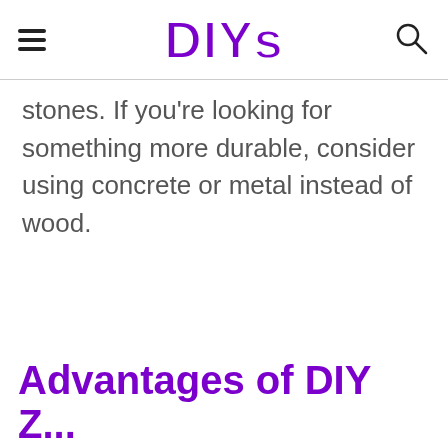DIYs
stones. If you're looking for something more durable, consider using concrete or metal instead of wood.
Advantages of DIY Z...